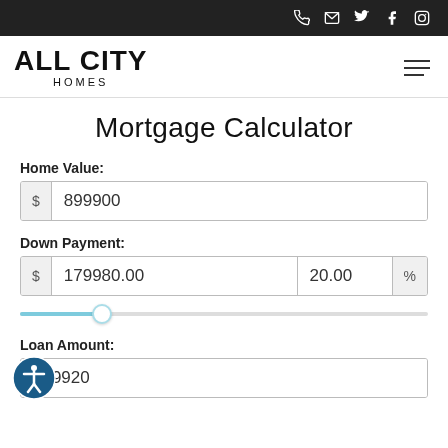All City Homes - navigation bar with phone, email, twitter, facebook, instagram icons
ALL CITY HOMES
Mortgage Calculator
Home Value:
$ 899900
Down Payment:
$ 179980.00  20.00  %
Loan Amount:
719920